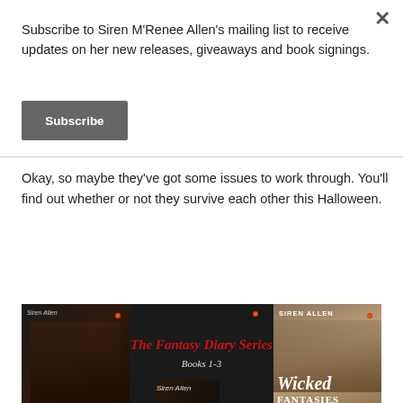Subscribe to Siren M'Renee Allen's mailing list to receive updates on her new releases, giveaways and book signings.
Subscribe
Okay, so maybe they've got some issues to work through. You'll find out whether or not they survive each other this Halloween.
[Figure (illustration): Book banner for The Fantasy Diary Series showing multiple book covers including 'Christmas Fantasy' on the left, 'The Fantasy Diary Series Books 1-3' by Siren Allen in center, and 'Wicked Fantasies' (Fantasy Diary Bk 3) by Siren Allen on the right, all against a dark background.]